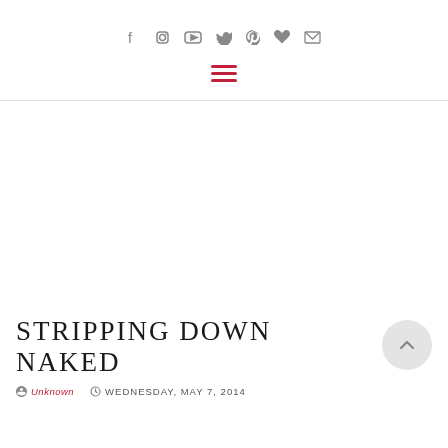Social icons navigation bar: facebook, instagram, youtube, twitter, pinterest, heart, mail
[Figure (other): Hamburger menu icon with three red horizontal lines]
STRIPPING DOWN NAKED
Unknown  WEDNESDAY, MAY 7, 2014